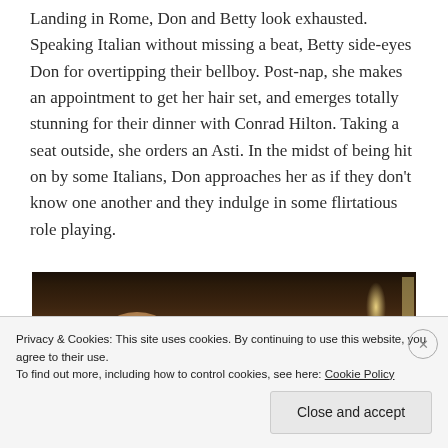Landing in Rome, Don and Betty look exhausted. Speaking Italian without missing a beat, Betty side-eyes Don for overtipping their bellboy. Post-nap, she makes an appointment to get her hair set, and emerges totally stunning for their dinner with Conrad Hilton. Taking a seat outside, she orders an Asti. In the midst of being hit on by some Italians, Don approaches her as if they don't know one another and they indulge in some flirtatious role playing.
[Figure (photo): Dark photograph showing the backs of people's heads, appearing to be at an outdoor evening setting. Multiple figures visible from behind with warm ambient lighting.]
Privacy & Cookies: This site uses cookies. By continuing to use this website, you agree to their use.
To find out more, including how to control cookies, see here: Cookie Policy
Close and accept